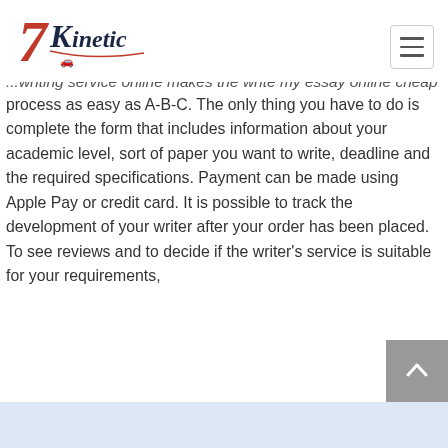Kinetic [logo with car]
...writing service online makes the write my essay online cheap process as easy as A-B-C. The only thing you have to do is complete the form that includes information about your academic level, sort of paper you want to write, deadline and the required specifications. Payment can be made using Apple Pay or credit card. It is possible to track the development of your writer after your order has been placed. To see reviews and to decide if the writer's service is suitable for your requirements,